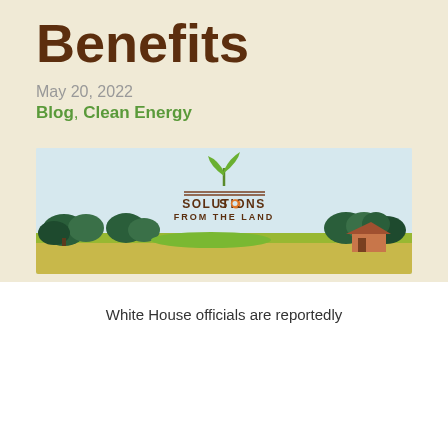Benefits
May 20, 2022
Blog, Clean Energy
[Figure (logo): Solutions From the Land logo with green plant sprout above two brown horizontal lines, text reads SOLUTIONS FROM THE LAND with an orange circle replacing the O in SOLUTIONS, above an illustrated countryside landscape with trees and fields]
White House officials are reportedly